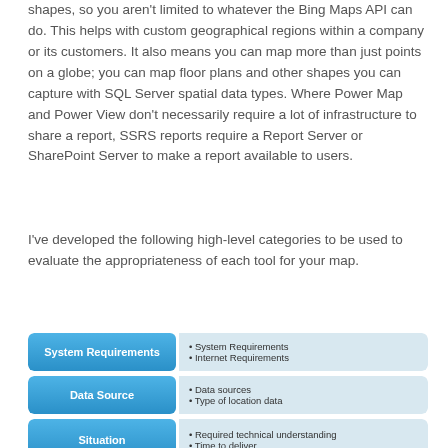shapes, so you aren't limited to whatever the Bing Maps API can do. This helps with custom geographical regions within a company or its customers. It also means you can map more than just points on a globe; you can map floor plans and other shapes you can capture with SQL Server spatial data types. Where Power Map and Power View don't necessarily require a lot of infrastructure to share a report, SSRS reports require a Report Server or SharePoint Server to make a report available to users.
I've developed the following high-level categories to be used to evaluate the appropriateness of each tool for your map.
[Figure (infographic): Three rows showing categories: System Requirements (System Requirements, Internet Requirements), Data Source (Data sources, Type of location data), Situation (Required technical understanding, Time to deliver). Each row has a blue label on the left and a light blue panel with bullet points on the right.]